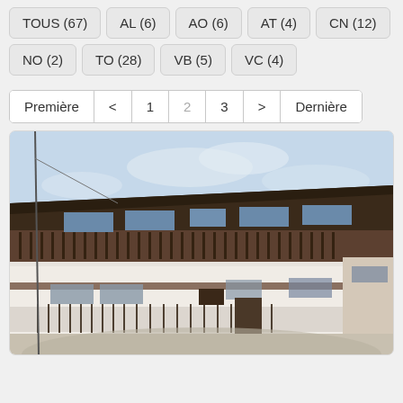TOUS (67)
AL (6)
AO (6)
AT (4)
CN (12)
NO (2)
TO (28)
VB (5)
VC (4)
Première  <  1  2  3  >  Dernière
[Figure (photo): Exterior view of a traditional two-story building with wooden balcony railings and white walls, photographed from below against a light blue sky.]